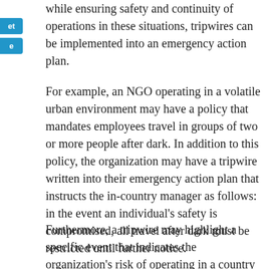while ensuring safety and continuity of operations in these situations, tripwires can be implemented into an emergency action plan.
For example, an NGO operating in a volatile urban environment may have a policy that mandates employees travel in groups of two or more people after dark. In addition to this policy, the organization may have a tripwire written into their emergency action plan that instructs the in-country manager as follows: in the event an individual's safety is compromised, all travel after dark must be restricted until further notice.
Furthermore, a tripwire may highlight a specific event that indicates the organization's risk of operating in a country has exceeded the